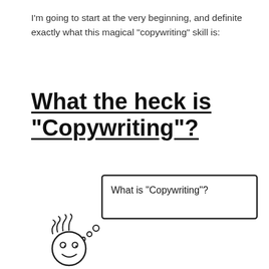I'm going to start at the very beginning, and definite exactly what this magical "copywriting" skill is:
What the heck is "Copywriting"?
[Figure (illustration): A hand-drawn stick figure with curly hair and a smiley face, with thought bubbles leading to a speech box that reads: What is "Copywriting"?]